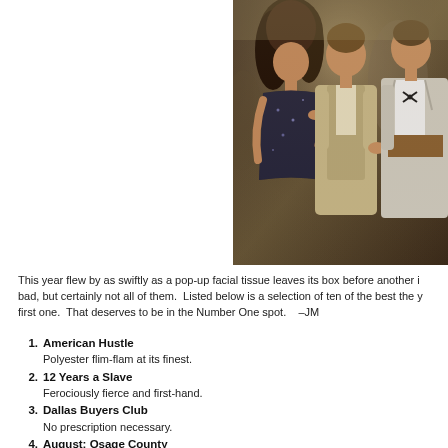[Figure (photo): Movie still from American Hustle showing three people in 1970s-style clothing at what appears to be a party — a woman in a black sequined dress with curly hair, a man in a beige three-piece suit, and another man in a silver suit with a bow tie.]
This year flew by as swiftly as a pop-up facial tissue leaves its box before another i bad, but certainly not all of them.  Listed below is a selection of ten of the best the y first one.  That deserves to be in the Number One spot.    –JM
1. American Hustle
Polyester flim-flam at its finest.
2. 12 Years a Slave
Ferociously fierce and first-hand.
3. Dallas Buyers Club
No prescription necessary.
4. August: Osage County
Mommy Dearest à la Streep.
5. The Book Thief